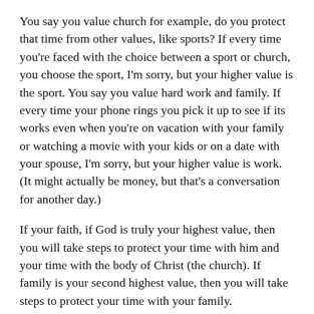You say you value church for example, do you protect that time from other values, like sports? If every time you're faced with the choice between a sport or church, you choose the sport, I'm sorry, but your higher value is the sport. You say you value hard work and family. If every time your phone rings you pick it up to see if its works even when you're on vacation with your family or watching a movie with your kids or on a date with your spouse, I'm sorry, but your higher value is work. (It might actually be money, but that's a conversation for another day.)
If your faith, if God is truly your highest value, then you will take steps to protect your time with him and your time with the body of Christ (the church). If family is your second highest value, then you will take steps to protect your time with your family.